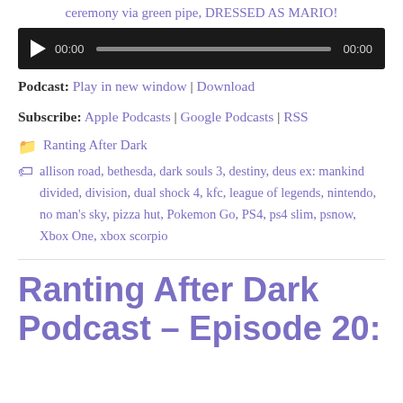ceremony via green pipe, DRESSED AS MARIO!
[Figure (other): Audio player with play button, progress bar, and time counters showing 00:00]
Podcast: Play in new window | Download
Subscribe: Apple Podcasts | Google Podcasts | RSS
Ranting After Dark
allison road, bethesda, dark souls 3, destiny, deus ex: mankind divided, division, dual shock 4, kfc, league of legends, nintendo, no man's sky, pizza hut, Pokemon Go, PS4, ps4 slim, psnow, Xbox One, xbox scorpio
Ranting After Dark Podcast – Episode 20: